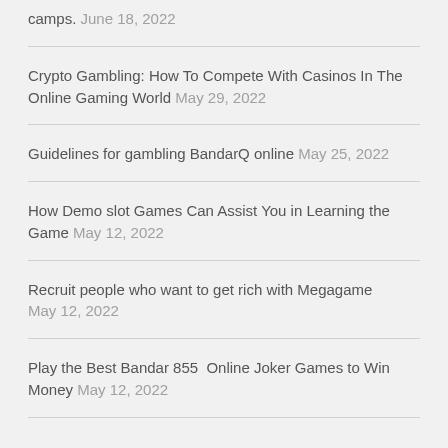camps. June 18, 2022
Crypto Gambling: How To Compete With Casinos In The Online Gaming World May 29, 2022
Guidelines for gambling BandarQ online May 25, 2022
How Demo slot Games Can Assist You in Learning the Game May 12, 2022
Recruit people who want to get rich with Megagame May 12, 2022
Play the Best Bandar 855  Online Joker Games to Win Money May 12, 2022